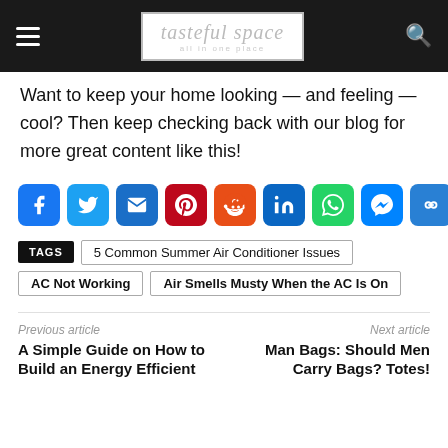tasteful space — all in one place
Want to keep your home looking — and feeling — cool? Then keep checking back with our blog for more great content like this!
[Figure (infographic): Social sharing icons row: Facebook, Twitter, Email, Pinterest, Reddit, LinkedIn, WhatsApp, Messenger, Copy Link, More]
TAGS: 5 Common Summer Air Conditioner Issues
AC Not Working
Air Smells Musty When the AC Is On
Previous article: A Simple Guide on How to Build an Energy Efficient ...
Next article: Man Bags: Should Men Carry Bags? Totes!